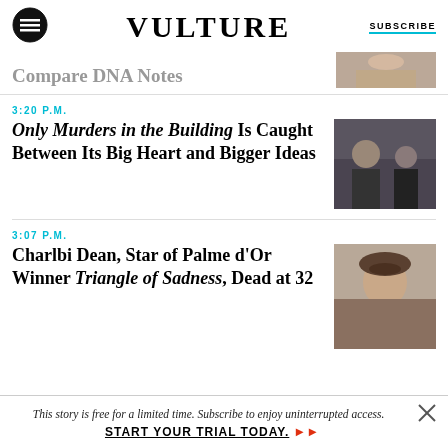VULTURE | SUBSCRIBE
Compare DNA Notes
3:20 P.M.
Only Murders in the Building Is Caught Between Its Big Heart and Bigger Ideas
[Figure (photo): Two people in a room, one older man and a younger woman]
3:07 P.M.
Charlbi Dean, Star of Palme d'Or Winner Triangle of Sadness, Dead at 32
[Figure (photo): Portrait of a young woman with long wavy hair]
This story is free for a limited time. Subscribe to enjoy uninterrupted access. START YOUR TRIAL TODAY.